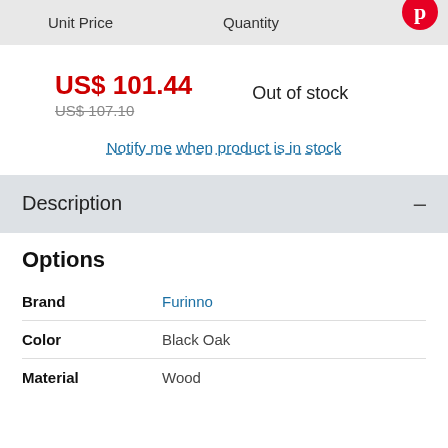| Unit Price | Quantity |
| --- | --- |
US$ 101.44
US$ 107.10
Out of stock
Notify me when product is in stock
Description
Options
|  |  |
| --- | --- |
| Brand | Furinno |
| Color | Black Oak |
| Material | Wood |